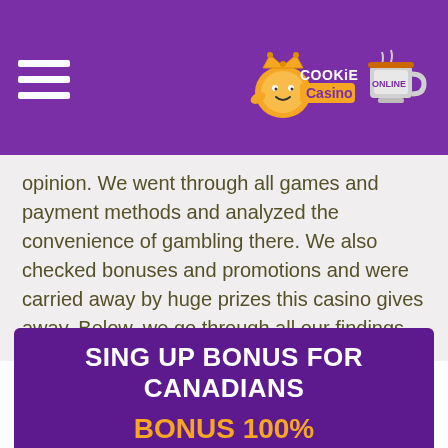[Figure (logo): Cookie Casino Online logo with hamburger menu on purple header bar]
opinion. We went through all games and payment methods and analyzed the convenience of gambling there. We also checked bonuses and promotions and were carried away by huge prizes this casino gives away. Below, we go through all our findings.
SING UP BONUS FOR CANADIANS
BONUS 100% UP TO